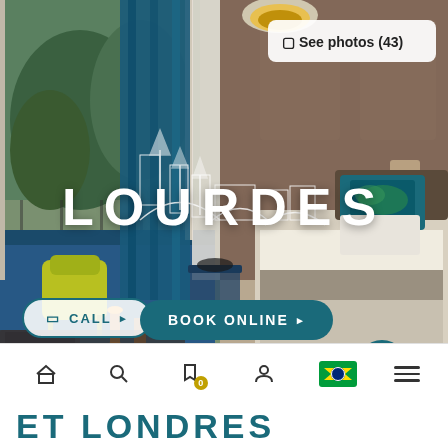[Figure (photo): Hotel room photo showing a double bed with teal/green decorative pillows, blue carpet, yellow armchair, balcony with blue curtains and garden view, pendant lamp overhead. Text overlay reads LOURDES with skyline illustration.]
See photos (43)
LOURDES
CALL
BOOK ONLINE
ET LONDRES